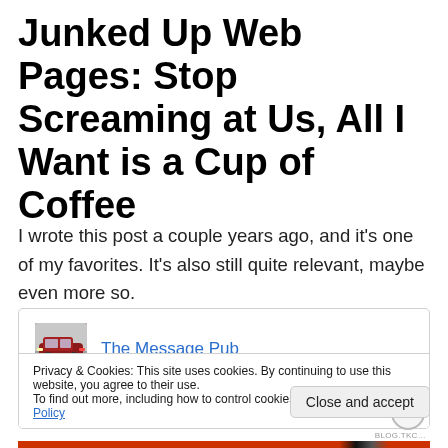Junked Up Web Pages: Stop Screaming at Us, All I Want is a Cup of Coffee
I wrote this post a couple years ago, and it's one of my favorites. It's also still quite relevant, maybe even more so.
[Figure (screenshot): Embedded card showing 'The Message Pub' blog with a red car thumbnail image and tagline 'Look here…and here…and here… and……..'. Below is a cookie consent bar reading 'Privacy & Cookies: This site uses cookies. By continuing to use this website, you agree to their use. To find out more, including how to control cookies, see here: Cookie Policy' with a 'Close and accept' button.]